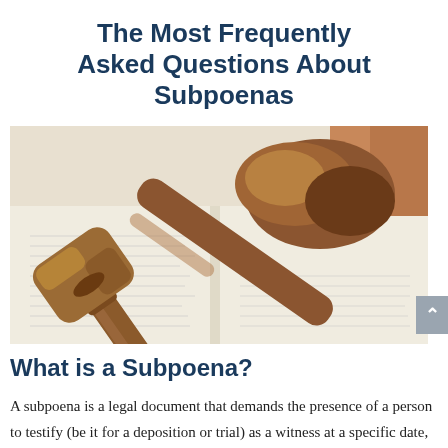The Most Frequently Asked Questions About Subpoenas
[Figure (photo): A wooden judge's gavel resting on an open legal document/book, with text visible underneath the gavel]
What is a Subpoena?
A subpoena is a legal document that demands the presence of a person to testify (be it for a deposition or trial) as a witness at a specific date, time, and